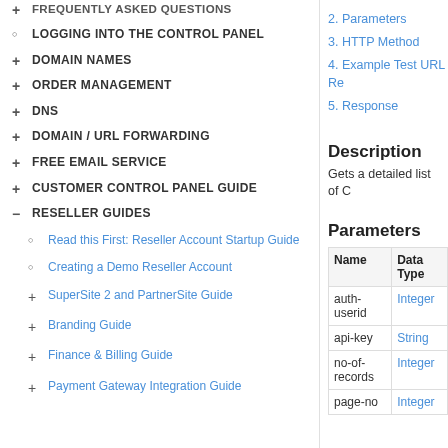+ FREQUENTLY ASKED QUESTIONS (partial/clipped top)
○ LOGGING INTO THE CONTROL PANEL
+ DOMAIN NAMES
+ ORDER MANAGEMENT
+ DNS
+ DOMAIN / URL FORWARDING
+ FREE EMAIL SERVICE
+ CUSTOMER CONTROL PANEL GUIDE
– RESELLER GUIDES
○ Read this First: Reseller Account Startup Guide
○ Creating a Demo Reseller Account
+ SuperSite 2 and PartnerSite Guide
+ Branding Guide
+ Finance & Billing Guide
+ Payment Gateway Integration Guide
2. Parameters
3. HTTP Method
4. Example Test URL Re
5. Response
Description
Gets a detailed list of C
Parameters
| Name | Data Type |
| --- | --- |
| auth-userid | Integer |
| api-key | String |
| no-of-records | Integer |
| page-no | Integer |